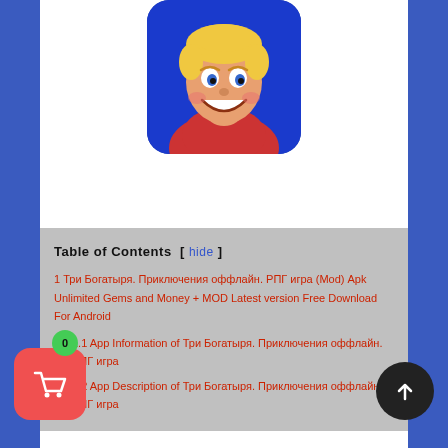[Figure (illustration): Game icon showing a cartoon male character with blond hair, wide smile, wearing red outfit, on a blue/purple background. Rounded square icon for 'Три Богатыря' game.]
Table of Contents [ hide ]
1 Три Богатыря. Приключения оффлайн. РПГ игра (Mod) Apk Unlimited Gems and Money + MOD Latest version Free Download For Android
1.1 App Information of Три Богатыря. Приключения оффлайн. РПГ игра
1.2 App Description of Три Богатыря. Приключения оффлайн. РПГ игра